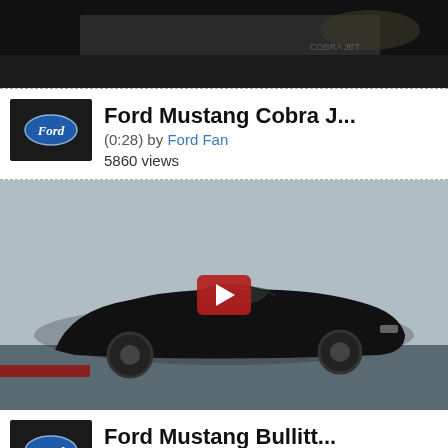[Figure (screenshot): Top portion of a video thumbnail showing a blurred road/car image with dark background]
[Figure (logo): Ford oval logo in blue on black background thumbnail]
Ford Mustang Cobra J...
(0:28) by Ford Fan
5860 views
[Figure (photo): Black Ford Mustang car drifting in front of a white brick/concrete wall, video thumbnail with red play button overlay]
[Figure (logo): Ford oval logo in blue on black background thumbnail]
Ford Mustang Bullitt...
(0:43) by Ford Fan
4940 views